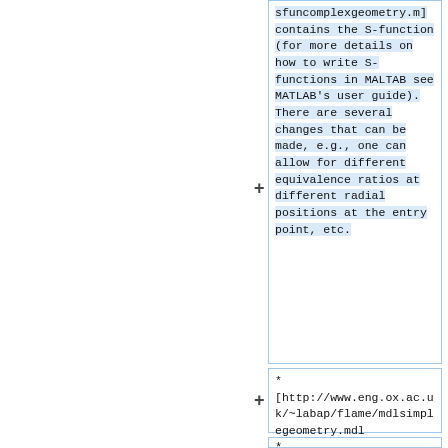sfuncomplexgeometry.m] contains the S-function (for more details on how to write S-functions in MALTAB see MATLAB's user guide). There are several changes that can be made, e.g., one can allow for different equivalence ratios at different radial positions at the entry point, etc.
* [http://www.eng.ox.ac.uk/~labap/flame/mdlsimplegeometry.mdl mdlcomplexgeometry.mdl] is the SIMULINK file.
*